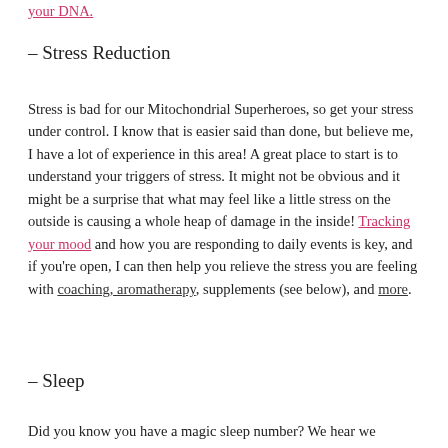your DNA.
– Stress Reduction
Stress is bad for our Mitochondrial Superheroes, so get your stress under control. I know that is easier said than done, but believe me, I have a lot of experience in this area!  A great place to start is to understand your triggers of stress.  It might not be obvious and it might be a surprise that what may feel like a little stress on the outside is causing a whole heap of damage in the inside!  Tracking your mood and how you are responding to daily events is key, and if you're open, I can then help you relieve the stress you are feeling with coaching,  aromatherapy, supplements (see below), and more.
– Sleep
Did you know you have a magic sleep number?  We hear we